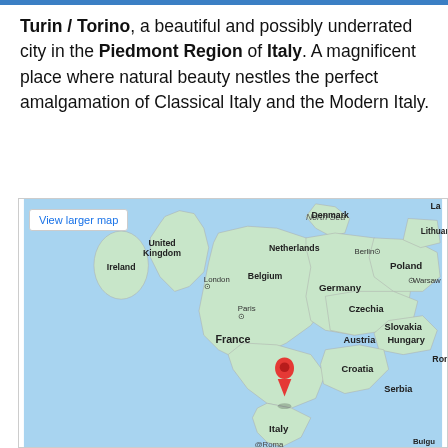Turin / Torino, a beautiful and possibly underrated city in the Piedmont Region of Italy. A magnificent place where natural beauty nestles the perfect amalgamation of Classical Italy and the Modern Italy.
[Figure (map): Google Maps screenshot showing Western and Central Europe with a red location pin dropped near Turin/Torino in northern Italy. Visible countries include United Kingdom, Ireland, France, Belgium, Netherlands, Germany, Denmark, Poland, Lithuania, Czechia, Slovakia, Austria, Hungary, Croatia, Serbia, and Italy. Cities labeled include London, Paris, Berlin, Warsaw. A 'View larger map' button appears in the top-left corner. North Sea is labeled.]